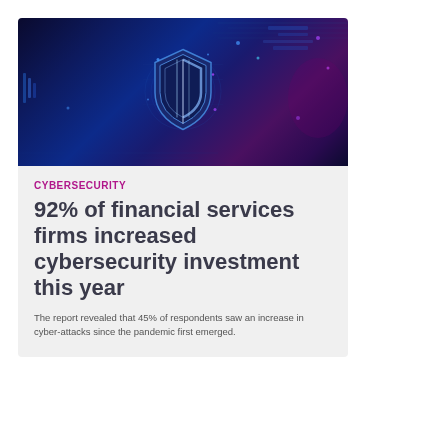[Figure (photo): Cybersecurity themed image with a glowing digital shield on a dark blue circuit board background with purple accents and digital data visualizations]
CYBERSECURITY
92% of financial services firms increased cybersecurity investment this year
The report revealed that 45% of respondents saw an increase in cyber-attacks since the pandemic first emerged.